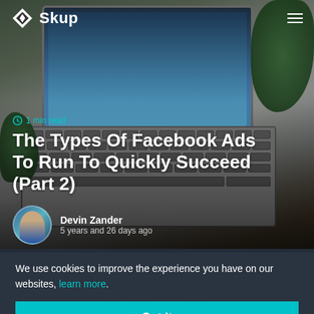Skup
[Figure (photo): Aerial view of a MacBook laptop on a wooden desk with plants, used as hero background image for a blog article]
1 min read
The Types Of Facebook Ads To Run To Quickly Succeed (Part 2)
Devin Zander
5 years and 26 days ago
We use cookies to improve the experience you have on our websites, learn more.
Got it
This video is unavailable.